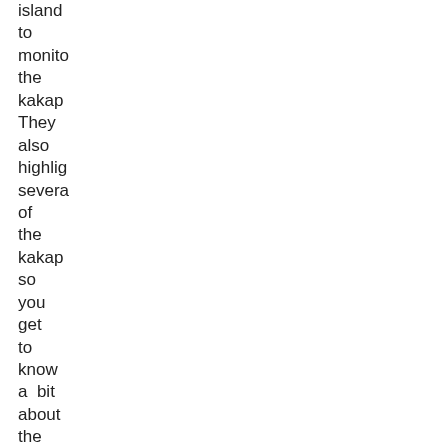island to monitor the kakapo They also highlight several of the kakapo so you get to know a  bit about the birds' person It also